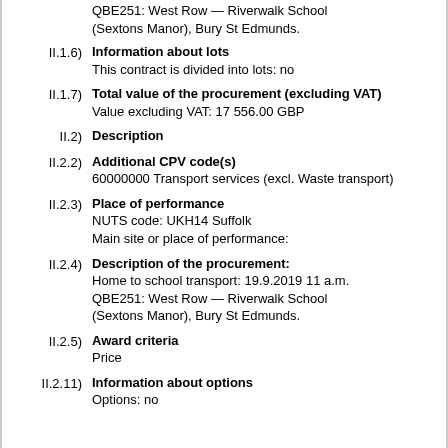QBE251: West Row — Riverwalk School (Sextons Manor), Bury St Edmunds.
II.1.6) Information about lots
This contract is divided into lots: no
II.1.7) Total value of the procurement (excluding VAT)
Value excluding VAT: 17 556.00 GBP
II.2) Description
II.2.2) Additional CPV code(s)
60000000 Transport services (excl. Waste transport)
II.2.3) Place of performance
NUTS code: UKH14 Suffolk
Main site or place of performance:
II.2.4) Description of the procurement:
Home to school transport: 19.9.2019 11 a.m. QBE251: West Row — Riverwalk School (Sextons Manor), Bury St Edmunds.
II.2.5) Award criteria
Price
II.2.11) Information about options
Options: no